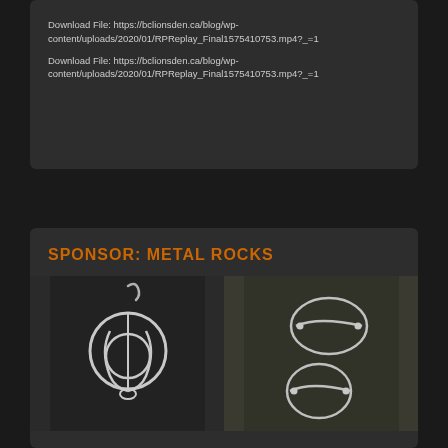Download File: https://bclionsden.ca/blog/wp-content/uploads/2020/01/RPReplay_Final1575410753.mp4?_=1
Download File: https://bclionsden.ca/blog/wp-content/uploads/2020/01/RPReplay_Final1575410753.mp4?_=1
SPONSOR: METAL ROCKS
[Figure (photo): Two photos of silver jewelry earrings side by side. Left: a circular drop earring with ornate wire design. Right: two oval/teardrop shaped earrings with a bar across the interior.]